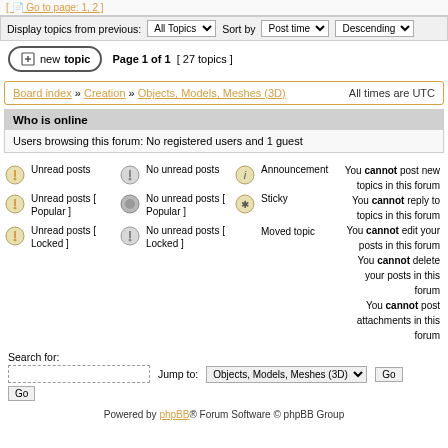| [ Go to page: 1, 2 ] |
Display topics from previous: All Topics Sort by Post time Descending
newtopic  Page 1 of 1  [ 27 topics ]
Board index » Creation » Objects, Models, Meshes (3D)  All times are UTC
Who is online
Users browsing this forum: No registered users and 1 guest
Unread posts | No unread posts | Announcement | You cannot post new topics in this forum
Unread posts [ Popular ] | No unread posts [ Popular ] | Sticky | You cannot reply to topics in this forum
Unread posts [ Locked ] | No unread posts [ Locked ] | Moved topic | You cannot edit your posts in this forum
You cannot delete your posts in this forum
You cannot post attachments in this forum
Search for:
Jump to: Objects, Models, Meshes (3D) Go
Powered by phpBB® Forum Software © phpBB Group